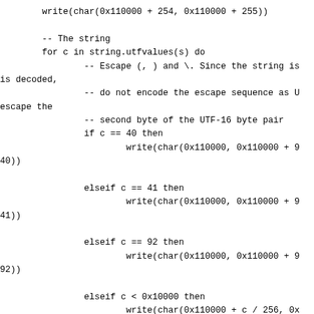Code block showing Lua string encoding logic with UTF-16 byte pair handling, escape sequences for characters 40, 41, 92, and surrogate pair construction for characters >= 0x10000.